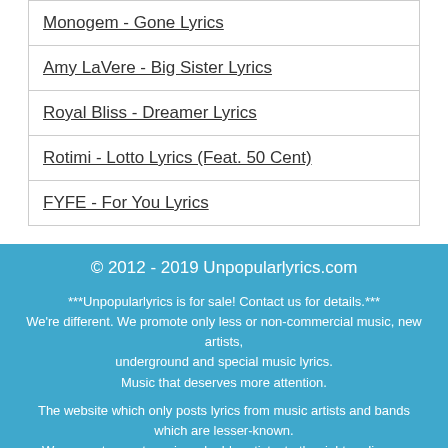Monogem - Gone Lyrics
Amy LaVere - Big Sister Lyrics
Royal Bliss - Dreamer Lyrics
Rotimi - Lotto Lyrics (Feat. 50 Cent)
FYFE - For You Lyrics
© 2012 - 2019 Unpopularlyrics.com
***Unpopularlyrics is for sale! Contact us for details.***
We're different. We promote only less or non-commercial music, new artists, underground and special music lyrics.
Music that deserves more attention.
The website which only posts lyrics from music artists and bands which are lesser-known.
We promote great music, valuable artists, to the right audience.
Real fans support their favorite musicians, and we support them.
All the lyrics are provided for educational purposes only, and are property and